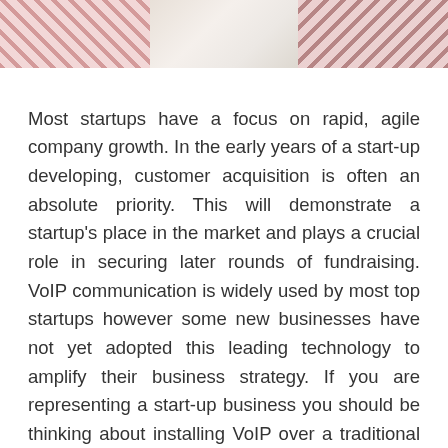[Figure (photo): A decorative photo strip at the top of the page showing what appears to be gift boxes or fabric with polka dot patterns on the left and right, and a lighter center section.]
Most startups have a focus on rapid, agile company growth. In the early years of a start-up developing, customer acquisition is often an absolute priority. This will demonstrate a startup's place in the market and plays a crucial role in securing later rounds of fundraising. VoIP communication is widely used by most top startups however some new businesses have not yet adopted this leading technology to amplify their business strategy. If you are representing a start-up business you should be thinking about installing VoIP over a traditional phone system due to the extensive advantages you can gain. Most startups are motivated and focused on their drive for innovation as well as the success of their customer acquisition strategy. Let's explore how a VoIP system can support a startup's innovative customer growth drive whilst helping keep control of costs.